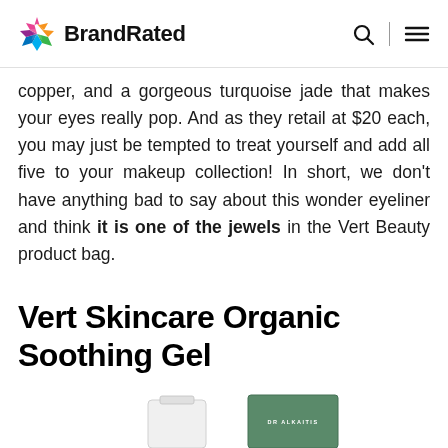BrandRated
copper, and a gorgeous turquoise jade that makes your eyes really pop. And as they retail at $20 each, you may just be tempted to treat yourself and add all five to your makeup collection! In short, we don't have anything bad to say about this wonder eyeliner and think it is one of the jewels in the Vert Beauty product bag.
Vert Skincare Organic Soothing Gel
[Figure (photo): Two skincare product containers partially visible at the bottom: a white bottle/jar on the left and a green box labeled DR ALKAITIS on the right]